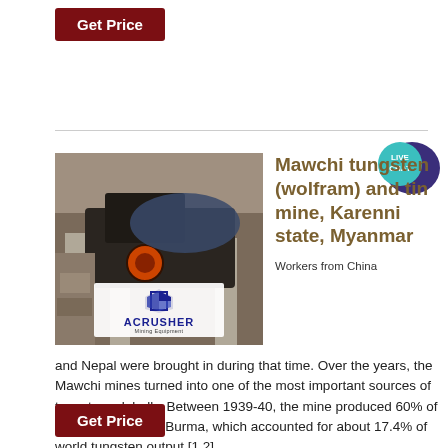Get Price
[Figure (photo): Mining equipment/crusher machinery at a mine site with stone pillars, heavy machinery and blue tarps in background. ACRUSHER Mining Equipment logo overlay.]
Mawchi tungsten (wolfram) and tin mine, Karenni state, Myanmar
Workers from China and Nepal were brought in during that time. Over the years, the Mawchi mines turned into one of the most important sources of tungsten, globally. Between 1939-40, the mine produced 60% of total production in Burma, which accounted for about 17.4% of world tungsten output [1,2].
Get Price